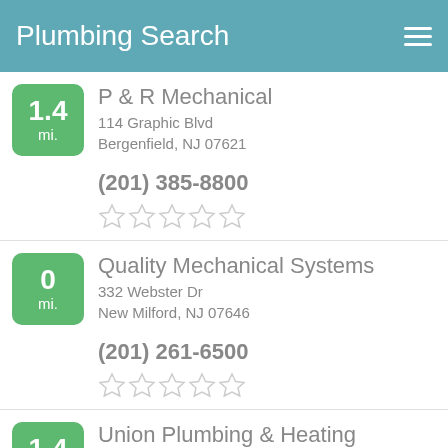Plumbing Search
1.4 mi. | P & R Mechanical | 114 Graphic Blvd, Bergenfield, NJ 07621 | (201) 385-8800 | 0 stars
0 mi. | Quality Mechanical Systems | 332 Webster Dr, New Milford, NJ 07646 | (201) 261-6500 | 0 stars
1.4 mi. | Union Plumbing & Heating Inc | 76 S Front St, Bergenfield, NJ 07621